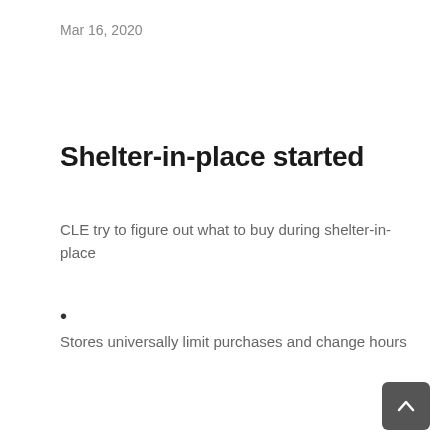Mar 16, 2020
Shelter-in-place started
CLE try to figure out what to buy during shelter-in-place
Stores universally limit purchases and change hours